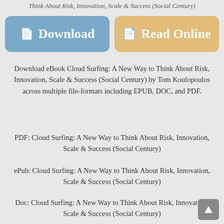Think About Risk, Innovation, Scale & Success (Social Century)
[Figure (screenshot): Two buttons side by side: blue 'Download' button on the left, tan/gold 'Read Online' button on the right, each with a document icon]
Download eBook Cloud Surfing: A New Way to Think About Risk, Innovation, Scale & Success (Social Century) by Tom Koulopoulos across multiple file-formats including EPUB, DOC, and PDF.
PDF: Cloud Surfing: A New Way to Think About Risk, Innovation, Scale & Success (Social Century)
ePub: Cloud Surfing: A New Way to Think About Risk, Innovation, Scale & Success (Social Century)
Doc: Cloud Surfing: A New Way to Think About Risk, Innovation, Scale & Success (Social Century)